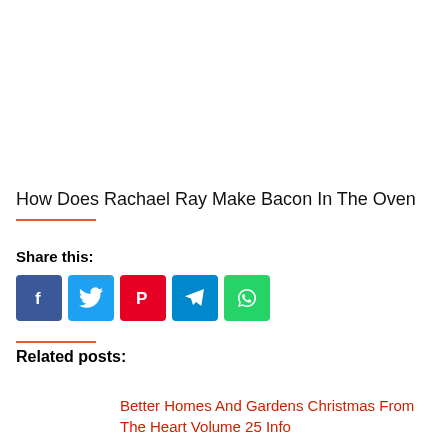How Does Rachael Ray Make Bacon In The Oven
Share this:
[Figure (infographic): Social share buttons: Facebook (blue), Twitter (light blue), Pinterest (red), Telegram (blue), WhatsApp (green)]
Related posts:
Better Homes And Gardens Christmas From The Heart Volume 25 Info